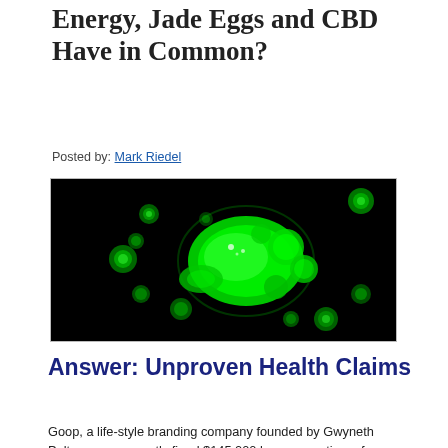Energy, Jade Eggs and CBD Have in Common?
Posted by: Mark Riedel
[Figure (photo): Microscopic image of green glowing cell-like organisms on a black background, resembling bacteria or microbes with reflective surfaces.]
Answer: Unproven Health Claims
Goop, a life-style branding company founded by Gwyneth Paltrow, was recently fined $145,000 by a consortium of California Counties for making exaggerated and false